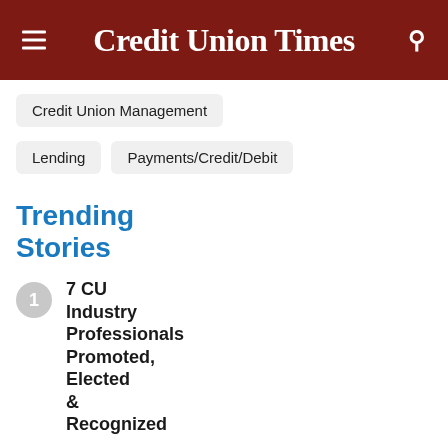Credit Union Times
Credit Union Management
Lending
Payments/Credit/Debit
Trending Stories
7 CU Industry Professionals Promoted, Elected & Recognized
VACU Loses